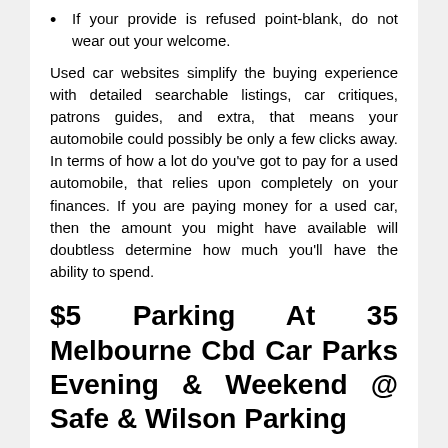If your provide is refused point-blank, do not wear out your welcome.
Used car websites simplify the buying experience with detailed searchable listings, car critiques, patrons guides, and extra, that means your automobile could possibly be only a few clicks away. In terms of how a lot do you've got to pay for a used automobile, that relies upon completely on your finances. If you are paying money for a used car, then the amount you might have available will doubtless determine how much you'll have the ability to spend.
$5 Parking At 35 Melbourne Cbd Car Parks Evening & Weekend @ Safe & Wilson Parking
A salesperson might try to distract you by discussing financing, insurance, or extras like a upkeep plan; this may be a entice you ought to be prepared to keep away from. When a lower buy value is the objective, you do not need to go in with the wrong method. Come off as too demanding